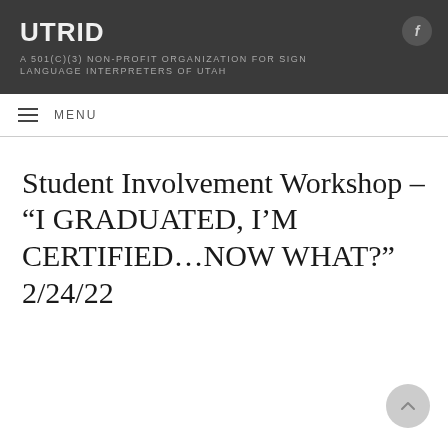UTRID
A 501(C)(3) NON-PROFIT ORGANIZATION FOR SIGN LANGUAGE INTERPRETERS OF UTAH
MENU
Student Involvement Workshop – “I GRADUATED, I’M CERTIFIED…NOW WHAT?” 2/24/22